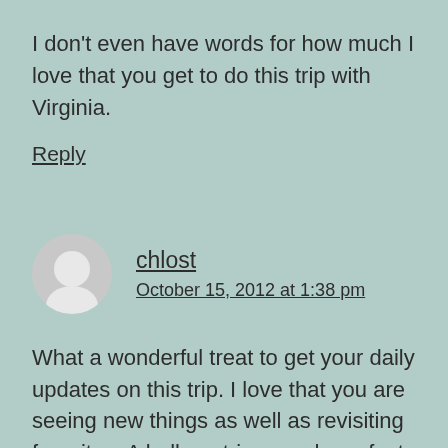I don't even have words for how much I love that you get to do this trip with Virginia.
Reply
chlost
October 15, 2012 at 1:38 pm
What a wonderful treat to get your daily updates on this trip. I love that you are seeing new things as well as revisiting favorites. A balloon trip sounds perfect. No pressure on the balls of the feet, either.